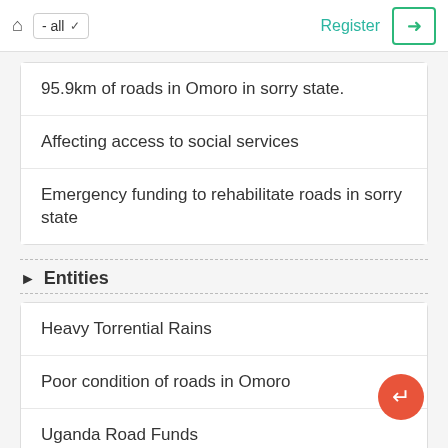Home  - all  Register  [Login]
95.9km of roads in Omoro in sorry state.
Affecting access to social services
Emergency funding to rehabilitate roads in sorry state
Entities
Heavy Torrential Rains
Poor condition of roads in Omoro
Uganda Road Funds